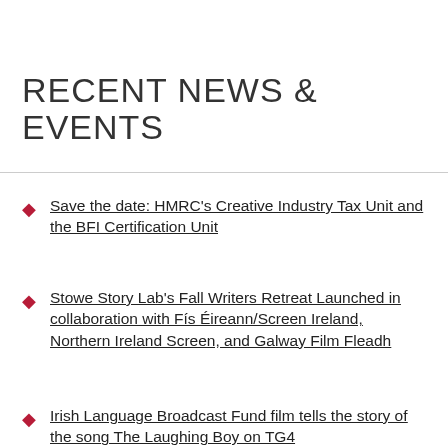RECENT NEWS & EVENTS
Save the date: HMRC's Creative Industry Tax Unit and the BFI Certification Unit
Stowe Story Lab's Fall Writers Retreat Launched in collaboration with Fís Éireann/Screen Ireland, Northern Ireland Screen, and Galway Film Fleadh
Irish Language Broadcast Fund film tells the story of the song The Laughing Boy on TG4
Afro-Mic Productions releases two brand new Ulster-